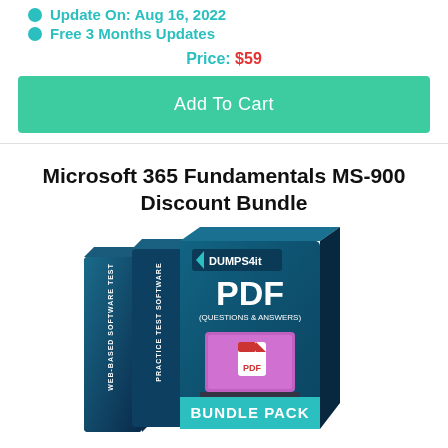Update On: Aug 16, 2022
Free 3 Months Updates
Price: $59
Add To Cart
Microsoft 365 Fundamentals MS-900 Discount Bundle
[Figure (illustration): Dumps4it bundle pack product box showing PDF Questions & Answers, Practice Test Software, and Web-Based Software Test, with a laptop displaying a PDF icon, labeled BUNDLE PACK at the bottom.]